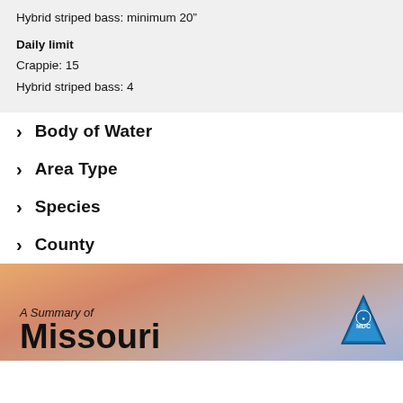Hybrid striped bass: minimum 20”
Daily limit
Crappie: 15
Hybrid striped bass: 4
> Body of Water
> Area Type
> Species
> County
[Figure (photo): Sunset/dusk sky background with text 'A Summary of Missouri' and a triangular logo/badge on the right side]